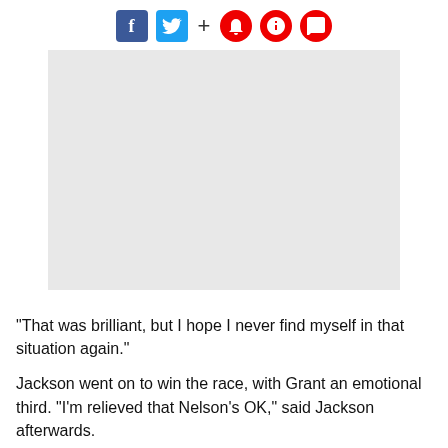[Figure (other): Social media share icons: Facebook, Twitter, plus sign, bookmark, bell, and comment icons]
[Figure (photo): A large light grey placeholder image block]
"That was brilliant, but I hope I never find myself in that situation again."
Jackson went on to win the race, with Grant an emotional third. "I'm relieved that Nelson's OK," said Jackson afterwards.
Jonathan Palmer, whose MotorSport Vision concern